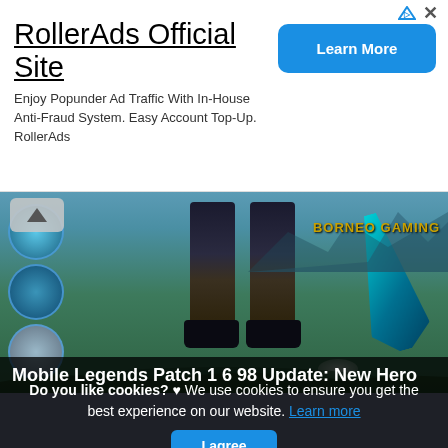[Figure (screenshot): RollerAds advertisement banner with title 'RollerAds Official Site', description text, and a blue 'Learn More' button. Also contains ad control icons (triangle and X).]
[Figure (screenshot): Mobile Legends game screenshot showing a character's legs and a large teal sword weapon, with skill icons on the left side and 'BORNEO GAMING' watermark text. A back/up chevron button is visible at top left.]
Mobile Legends Patch 1 6 98 Update: New Hero
Do you like cookies? ♥ We use cookies to ensure you get the best experience on our website. Learn more
I agree